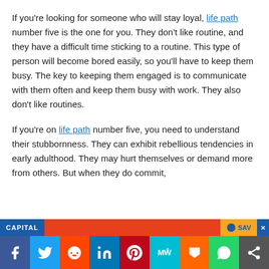If you're looking for someone who will stay loyal, life path number five is the one for you. They don't like routine, and they have a difficult time sticking to a routine. This type of person will become bored easily, so you'll have to keep them busy. The key to keeping them engaged is to communicate with them often and keep them busy with work. They also don't like routines.
If you're on life path number five, you need to understand their stubbornness. They can exhibit rebellious tendencies in early adulthood. They may hurt themselves or demand more from others. But when they do commit,
[Figure (other): Advertisement banner with CAPITAL text on blue background and SAV on orange background with close button]
[Figure (other): Social sharing bar with Facebook, Twitter, Reddit, LinkedIn, Pinterest, MeWe, Mix, WhatsApp, and share buttons]